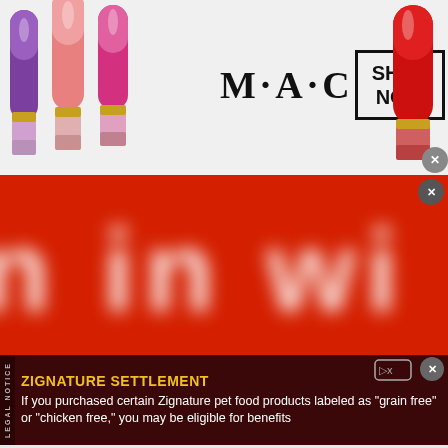[Figure (advertisement): MAC Cosmetics banner ad with lipsticks on left side, M·A·C logo in center, SHOP NOW button in a box on right, and a red lipstick on far right. Close button (X) in bottom right corner.]
[Figure (advertisement): Large red background banner advertisement with large blurred white text reading 'n in wi' (partial text, cropped). Red close button in top right corner.]
[Figure (advertisement): Zignature Settlement legal notice ad on dark red/maroon background. Yellow bold text reads 'ZIGNATURE SETTLEMENT'. White text reads 'If you purchased certain Zignature pet food products labeled as "grain free" or "chicken free," you may be eligible for benefits'. LEGAL NOTICE tab on left side. Ad icon and close button on top right.]